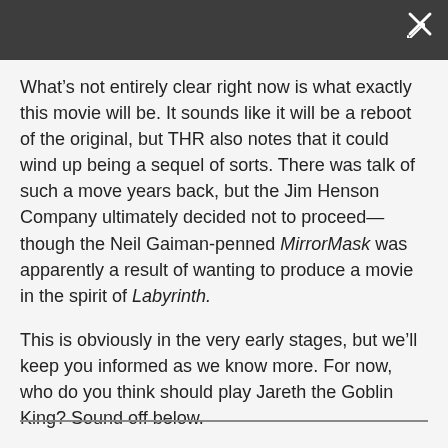What’s not entirely clear right now is what exactly this movie will be. It sounds like it will be a reboot of the original, but THR also notes that it could wind up being a sequel of sorts. There was talk of such a move years back, but the Jim Henson Company ultimately decided not to proceed—though the Neil Gaiman-penned MirrorMask was apparently a result of wanting to produce a movie in the spirit of Labyrinth.
This is obviously in the very early stages, but we’ll keep you informed as we know more. For now, who do you think should play Jareth the Goblin King? Sound off below.